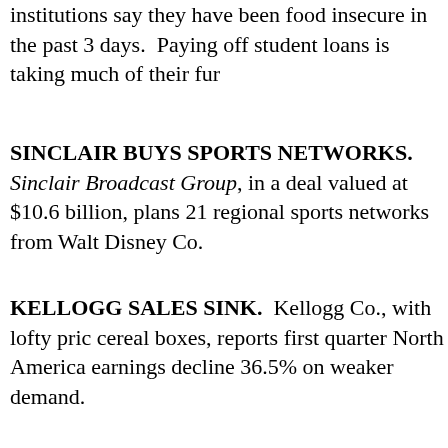institutions say they have been food insecure in the past 3 days.  Paying off student loans is taking much of their fur
SINCLAIR BUYS SPORTS NETWORKS.  Sinclair Broadcast Group, in a deal valued at $10.6 billion, plans 21 regional sports networks from Walt Disney Co.
KELLOGG SALES SINK.  Kellogg Co., with lofty pric cereal boxes, reports first quarter North America earnings decline 36.5% on weaker demand.
Posted at 06:17 AM in Congress, Media, newspapers, Television | Permalink | Co
Reblog (0)  Digg This  Save to del.icio.us  Twee
FEBRUARY 18, 2019
NBC SITS ON 'RUSSIA' EXCLUSIVE GOING AIRB
Imagine this:  A major broadcast network grabs an exclu